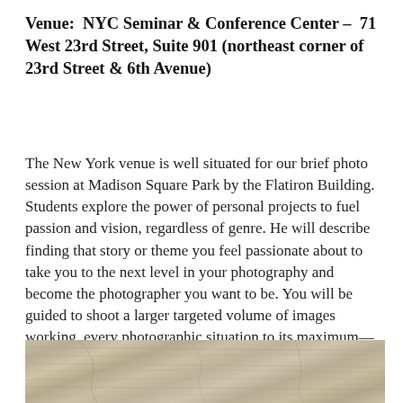Venue:  NYC Seminar & Conference Center – 71 West 23rd Street, Suite 901 (northeast corner of 23rd Street & 6th Avenue)
The New York venue is well situated for our brief photo session at Madison Square Park by the Flatiron Building. Students explore the power of personal projects to fuel passion and vision, regardless of genre. He will describe finding that story or theme you feel passionate about to take you to the next level in your photography and become the photographer you want to be. You will be guided to shoot a larger targeted volume of images working  every photographic situation to its maximum—creating a compositional process and template you can apply to every shooting situation.
[Figure (photo): A close-up photograph of a wooden surface showing wood grain texture in muted tan and gray-brown tones.]